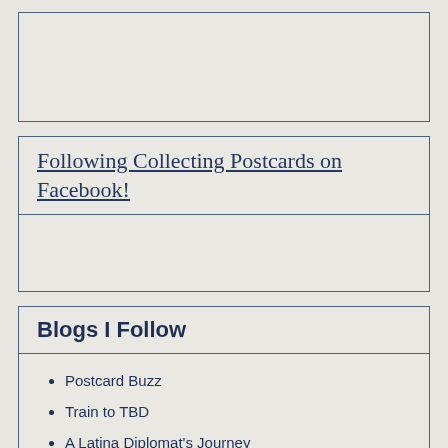Following Collecting Postcards on Facebook!
Blogs I Follow
Postcard Buzz
Train to TBD
A Latina Diplomat's Journey
Diplomatic Briefing
What's Up With Tianna?